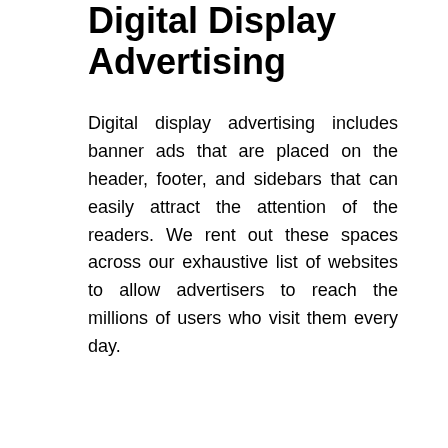Digital Display Advertising
Digital display advertising includes banner ads that are placed on the header, footer, and sidebars that can easily attract the attention of the readers. We rent out these spaces across our exhaustive list of websites to allow advertisers to reach the millions of users who visit them every day.